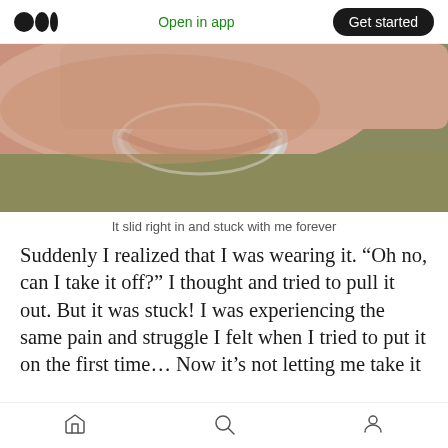Open in app  Get started
[Figure (photo): Close-up photo of a finger wearing a tight ring, appearing stuck on the finger against a greenish surface background.]
It slid right in and stuck with me forever
Suddenly I realized that I was wearing it. “Oh no, can I take it off?” I thought and tried to pull it out. But it was stuck! I was experiencing the same pain and struggle I felt when I tried to put it on the first time... Now it’s not letting me take it
[home] [search] [profile]